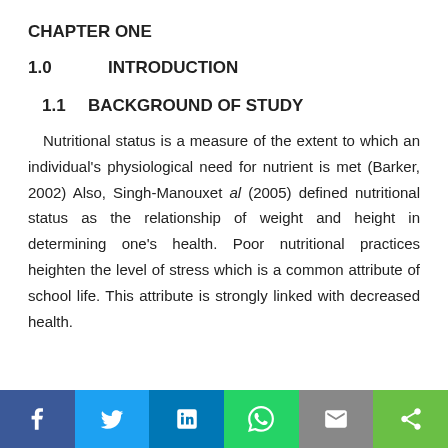CHAPTER ONE
1.0	INTRODUCTION
1.1	BACKGROUND OF STUDY
Nutritional status is a measure of the extent to which an individual's physiological need for nutrient is met (Barker, 2002) Also, Singh-Manouxet al (2005) defined nutritional status as the relationship of weight and height in determining one's health. Poor nutritional practices heighten the level of stress which is a common attribute of school life. This attribute is strongly linked with decreased health.